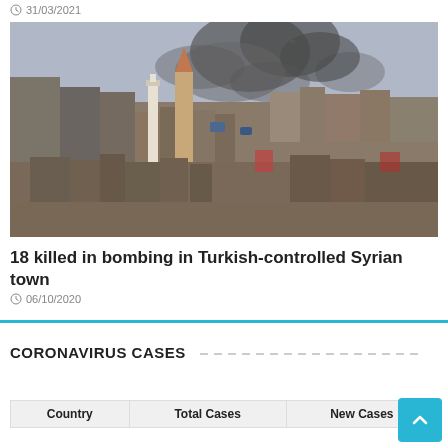31/03/2021
[Figure (photo): Aerial view of a Syrian town with smoke rising from buildings and a church steeple visible in the foreground, dense urban area with multiple buildings.]
18 killed in bombing in Turkish-controlled Syrian town
06/10/2020
CORONAVIRUS CASES
| Country | Total Cases | New Cases |
| --- | --- | --- |